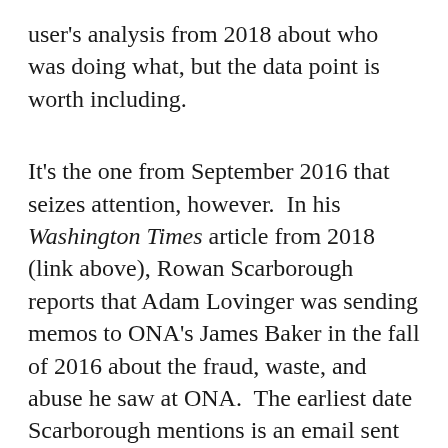user's analysis from 2018 about who was doing what, but the data point is worth including.
It's the one from September 2016 that seizes attention, however. In his Washington Times article from 2018 (link above), Rowan Scarborough reports that Adam Lovinger was sending memos to ONA's James Baker in the fall of 2016 about the fraud, waste, and abuse he saw at ONA. The earliest date Scarborough mentions is an email sent in September 2016.
[Figure (photo): A photograph showing a person (partially visible, bald head) in front of an American flag and what appears to be a military or government insignia/seal with gold and blue colors. The background is dark.]